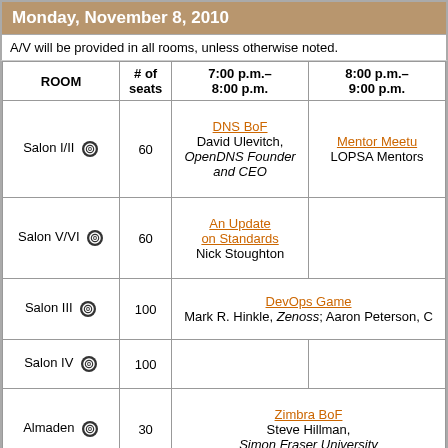Monday, November 8, 2010
A/V will be provided in all rooms, unless otherwise noted.
| ROOM | # of seats | 7:00 p.m.–8:00 p.m. | 8:00 p.m.–9:00 p.m. |
| --- | --- | --- | --- |
| Salon I/II | 60 | DNS BoF
David Ulevitch, OpenDNS Founder and CEO | Mentor Meetup
LOPSA Mentors |
| Salon V/VI | 60 | An Update on Standards
Nick Stoughton |  |
| Salon III | 100 | DevOps Game
Mark R. Hinkle, Zenoss; Aaron Peterson, C |  |
| Salon IV | 100 |  |  |
| Almaden | 30 | Zimbra BoF
Steve Hillman, Simon Fraser University |  |
| Willow Glen | 60 |  | NetApp Storage Admins Unite
Don Johnsen, Ne |